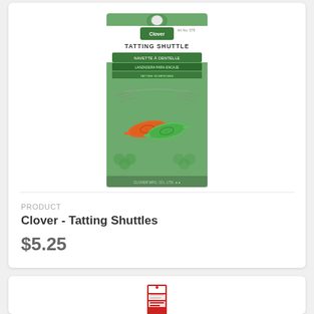[Figure (photo): Clover brand Tatting Shuttle product package showing two tatting shuttles, one orange and one green, on a green packaging card with hands illustration and clover leaf decorations. Text reads TATTING SHUTTLE on the package.]
PRODUCT
Clover - Tatting Shuttles
$5.25
[Figure (photo): Partial view of a second product with a small red and white product tag/label visible at the bottom of the page.]